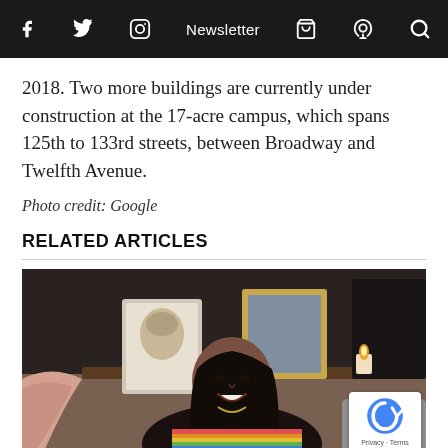f  [twitter]  [instagram]  Newsletter  [cart]  [podcast]  [search]
2018. Two more buildings are currently under construction at the 17-acre campus, which spans 125th to 133rd streets, between Broadway and Twelfth Avenue.
Photo credit: Google
RELATED ARTICLES
[Figure (photo): A woman smiling, seated on a couch with a colorful blanket, in front of framed pictures and a candle on a shelf. A pink blanket is visible to the left.]